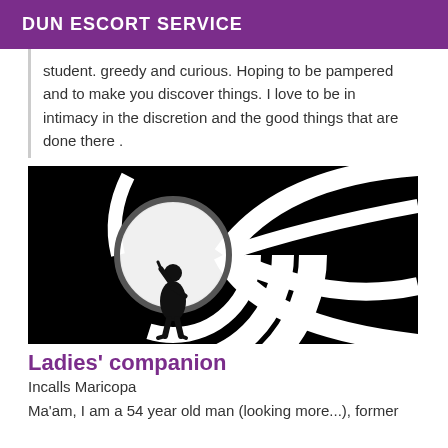DUN ESCORT SERVICE
student. greedy and curious. Hoping to be pampered and to make you discover things. I love to be in intimacy in the discretion and the good things that are done there .
[Figure (photo): Black and white gun barrel graphic with silhouette of a suited man holding a gun, James Bond style.]
Ladies' companion
Incalls Maricopa
Ma'am, I am a 54 year old man (looking more...), former